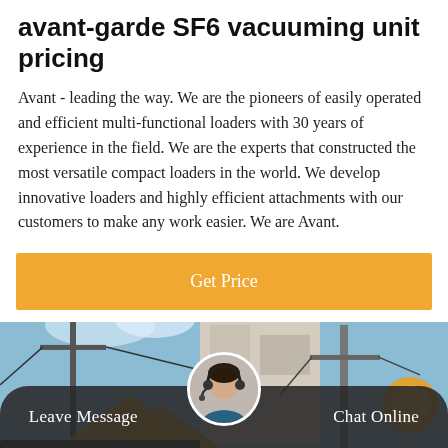avant-garde SF6 vacuuming unit pricing
Avant - leading the way. We are the pioneers of easily operated and efficient multi-functional loaders with 30 years of experience in the field. We are the experts that constructed the most versatile compact loaders in the world. We develop innovative loaders and highly efficient attachments with our customers to make any work easier. We are Avant.
[Figure (other): Orange 'Get Price' button]
[Figure (photo): Photograph of industrial equipment and machinery outdoors with blue sky, utility poles, and yellow/orange structures visible. A chat support agent avatar appears at the bottom center.]